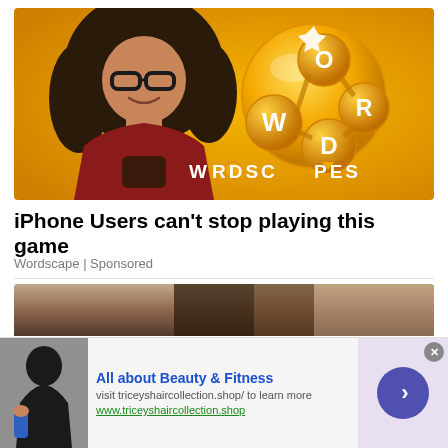[Figure (screenshot): Wordscapes mobile game advertisement banner showing a smiling woman with curly hair and glasses looking at a phone, on a golden yellow background with the Wordscapes game logo showing letter bubbles W, O, R, D connected, and WORDSCAPES text at the bottom]
iPhone Users can't stop playing this game
Wordscape | Sponsored
[Figure (photo): Partial photo visible below divider, showing outdoor/architectural scene]
[Figure (infographic): Banner advertisement at bottom: 'All about Beauty & Fitness' - visit triceyshaircollection.shop/ to learn more - www.triceyshaircollection.shop - with a person holding a water bottle on left and a purple arrow button on right]